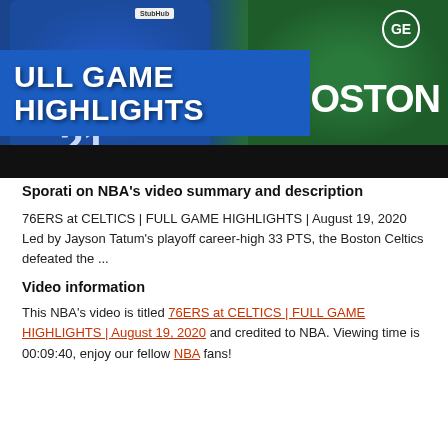[Figure (screenshot): NBA video thumbnail showing 76ers vs Celtics Full Game Highlights with players in blue and green jerseys, blue banner overlay with text 'FULL GAME HIGHLIGHTS' and 'BOSTON' visible on right]
Sporati on NBA's video summary and description
76ERS at CELTICS | FULL GAME HIGHLIGHTS | August 19, 2020 Led by Jayson Tatum's playoff career-high 33 PTS, the Boston Celtics defeated the ...
Video information
This NBA's video is titled 76ERS at CELTICS | FULL GAME HIGHLIGHTS | August 19, 2020 and credited to NBA. Viewing time is 00:09:40, enjoy our fellow NBA fans!